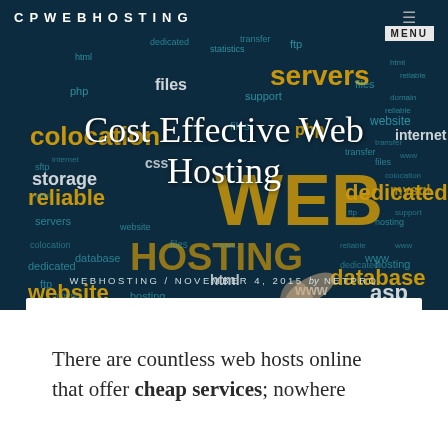CPWEBHOSTING
[Figure (photo): Dark blue word cloud with web hosting related terms in teal and gold, including: servers, ftp, dedicated, files, php, colocation, css, WEB, HOSTING, database, storage, sftp, reliable, website, html, www, asp, mysql, internet, domain, transfer, support, hosting. A hand pointing at the word cloud is visible.]
Cost Effective Web Hosting
WEBHOSTING / NOVEMBER 4, 2015 by NETPRO
There are countless web hosts online that offer cheap services; nowhere